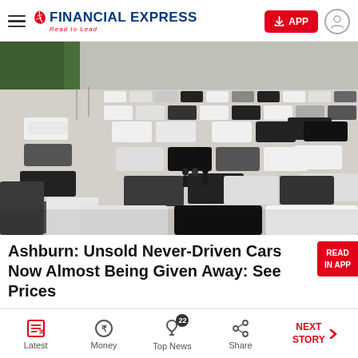FINANCIAL EXPRESS — Read to Lead
[Figure (photo): Aerial view of a large car dealership lot filled with many cars parked in rows, predominantly white and dark colored vehicles. Three people stand in the center of the lot conversing. Green trees and a railway track visible in the background.]
Ashburn: Unsold Never-Driven Cars Now Almost Being Given Away: See Prices
SUV Deals | Search Ads | Sponsored
Latest | Money | Top News (22) | Share | NEXT STORY